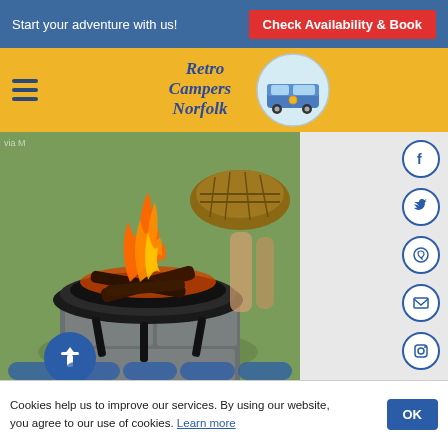Start your adventure with us!
Check Availability & Book
[Figure (logo): Retro Campers Norfolk logo with VW camper van illustration on circular badge, blue text on yellow background]
[Figure (photo): A fire pit with orange flames burning wood, sitting on slate tiles on grass, with a wicker basket visible in the background]
Cookies help us to improve our services. By using our website, you agree to our use of cookies. Learn more
OK